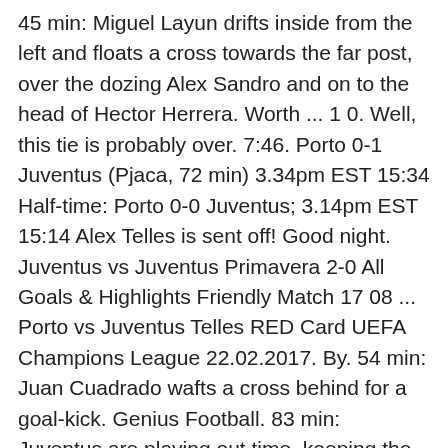45 min: Miguel Layun drifts inside from the left and floats a cross towards the far post, over the dozing Alex Sandro and on to the head of Hector Herrera. Worth ... 1 0. Well, this tie is probably over. 7:46. Porto 0-1 Juventus (Pjaca, 72 min) 3.34pm EST 15:34 Half-time: Porto 0-0 Juventus; 3.14pm EST 15:14 Alex Telles is sent off! Good night. Juventus vs Juventus Primavera 2-0 All Goals & Highlights Friendly Match 17 08 ... Porto vs Juventus Telles RED Card UEFA Champions League 22.02.2017. By. 54 min: Juan Cuadrado wafts a cross behind for a goal-kick. Genius Football. 83 min: Juventus are playing out time, keeping the ball, teasing Porto. Porto are unlikely to get many more openings. As a matter of fact, since reaching the final in 2017, the Italians have only fallen to four away defeats and even those came at the hands of Lyon, Atletico Madrid, Barcelona and somewhat more